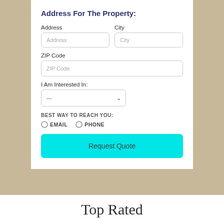Address For The Property:
Address
City
ZIP Code
I Am Interested In:
BEST WAY TO REACH YOU:
EMAIL
PHONE
Request Quote
Top Rated